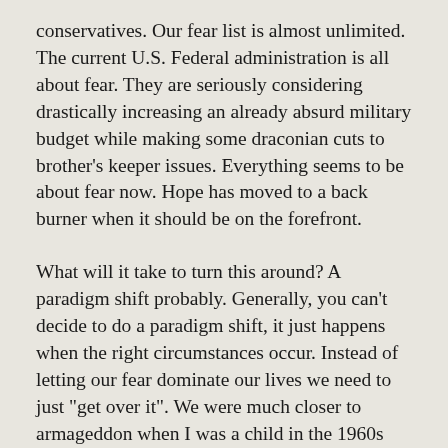conservatives. Our fear list is almost unlimited. The current U.S. Federal administration is all about fear. They are seriously considering drastically increasing an already absurd military budget while making some draconian cuts to brother's keeper issues. Everything seems to be about fear now. Hope has moved to a back burner when it should be on the forefront.
What will it take to turn this around? A paradigm shift probably. Generally, you can't decide to do a paradigm shift, it just happens when the right circumstances occur. Instead of letting our fear dominate our lives we need to just "get over it". We were much closer to armageddon when I was a child in the 1960s than we are now. Almost everything was more dangerous then. I am a big believer in learning from history so we don't have to constantly learn the same lessons over and over again.
How close did it get? What would it have been like for...